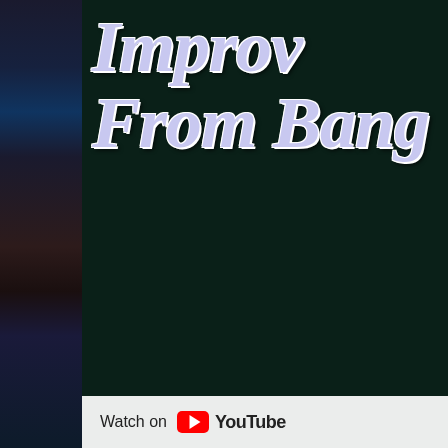[Figure (screenshot): A YouTube video thumbnail showing partially visible large italic serif title text reading 'Improv' and 'From Bang' (text cut off at right) in light lavender/white with dark green background. A narrow left strip shows a dark galaxy/space image. A 'Watch on YouTube' watermark appears at the bottom.]